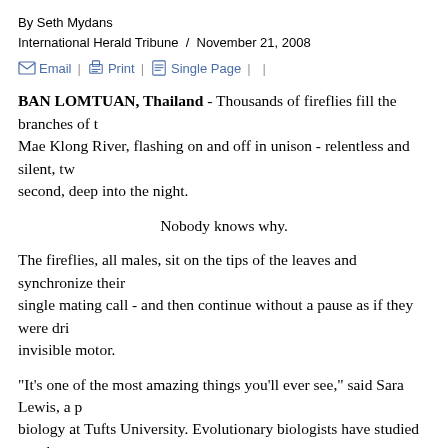By Seth Mydans
International Herald Tribune / November 21, 2008
Email | Print | Single Page |  |
BAN LOMTUAN, Thailand - Thousands of fireflies fill the branches of the Mae Klong River, flashing on and off in unison - relentless and silent, twice a second, deep into the night.
Nobody knows why.
The fireflies, all males, sit on the tips of the leaves and synchronize their single mating call - and then continue without a pause as if they were driven by an invisible motor.
"It's one of the most amazing things you'll ever see," said Sara Lewis, a professor of biology at Tufts University. Evolutionary biologists have studied synchrony for 200 years, she said, and it remains a mystery.
In recent years, these pulsating trees have drawn visitors on firefly-watching tours, particularly in Thailand and Malaysia. But the traffic of motorboats and the development they have attracted seem to be driving the fireflies away.
This retreat is part of a broader problem that is drawing new attention fro